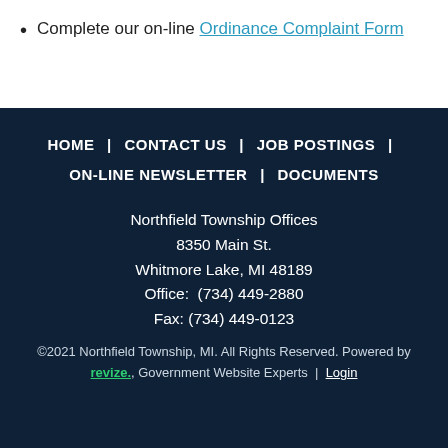Complete our on-line Ordinance Complaint Form
HOME | CONTACT US | JOB POSTINGS | ON-LINE NEWSLETTER | DOCUMENTS

Northfield Township Offices
8350 Main St.
Whitmore Lake, MI 48189
Office: (734) 449-2880
Fax: (734) 449-0123

©2021 Northfield Township, MI. All Rights Reserved. Powered by revize. Government Website Experts | Login